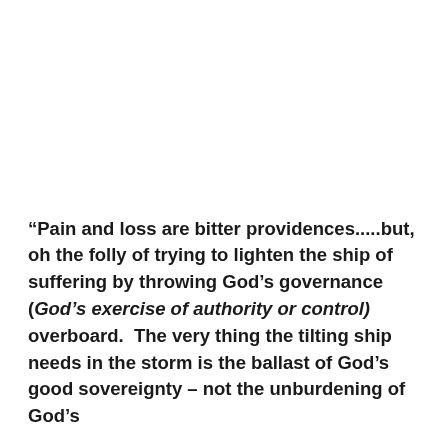“Pain and loss are bitter providences……but, oh the folly of trying to lighten the ship of suffering by throwing God’s governance (God’s exercise of authority or control) overboard.  The very thing the tilting ship needs in the storm is the ballast of God’s good sovereignty – not the unburdening of God’s